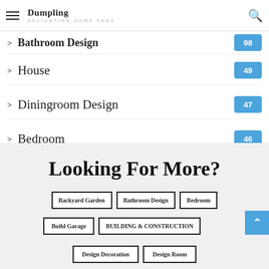Dumpling DELIGHTING HOME FANS
Bathroom Design 98
House 49
Diningroom Design 47
Bedroom 46
Looking For More?
Backyard Garden
Bathroom Design
Bedroom
Build Garage
BUILDING & CONSTRUCTION
Design Decoration
Design Room